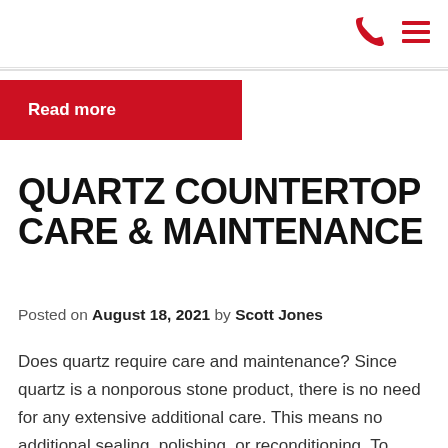[Phone icon] [Hamburger menu icon]
Read more
QUARTZ COUNTERTOP CARE & MAINTENANCE
Posted on August 18, 2021 by Scott Jones
Does quartz require care and maintenance? Since quartz is a nonporous stone product, there is no need for any extensive additional care. This means no additional sealing, polishing, or reconditioning. To clean spills or dirt, simply use warm water and a mild